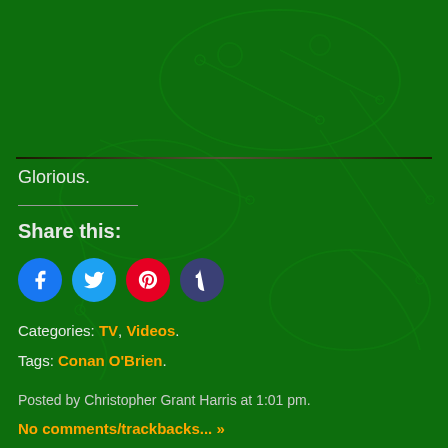[Figure (illustration): Dark green background with decorative frog/network pattern illustration]
Glorious.
Share this:
[Figure (other): Social sharing icons: Facebook (blue circle), Twitter (light blue circle), Pinterest (red circle), Tumblr (dark purple circle)]
Categories: TV, Videos.
Tags: Conan O'Brien.
Posted by Christopher Grant Harris at 1:01 pm.
No comments/trackbacks... »